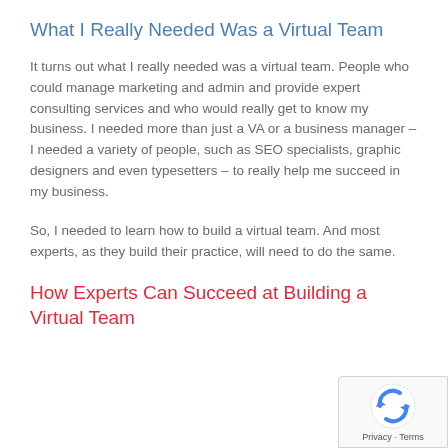What I Really Needed Was a Virtual Team
It turns out what I really needed was a virtual team. People who could manage marketing and admin and provide expert consulting services and who would really get to know my business. I needed more than just a VA or a business manager – I needed a variety of people, such as SEO specialists, graphic designers and even typesetters – to really help me succeed in my business.
So, I needed to learn how to build a virtual team. And most experts, as they build their practice, will need to do the same.
How Experts Can Succeed at Building a Virtual Team
[Figure (other): reCAPTCHA privacy badge with spinning arrows icon, showing Privacy and Terms links]